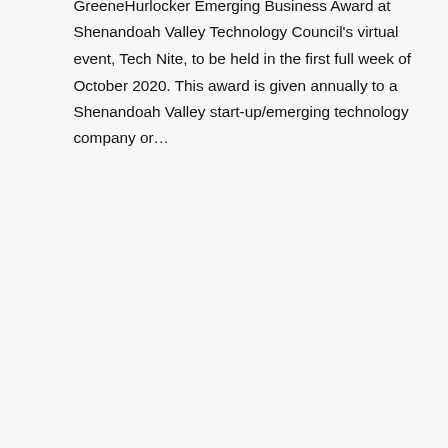GreeneHurlocker Emerging Business Award at Shenandoah Valley Technology Council's virtual event, Tech Nite, to be held in the first full week of October 2020. This award is given annually to a Shenandoah Valley start-up/emerging technology company or...
READ MORE
13 MAY READY FOR A CHANGE IN THE WAY